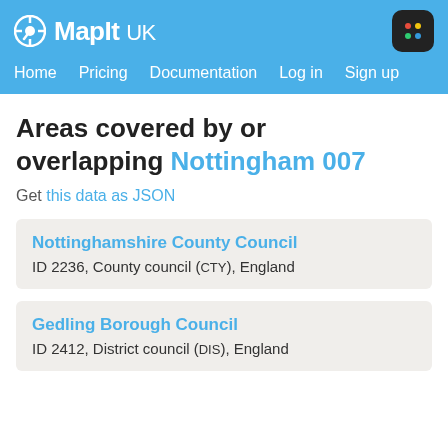MapIt UK — Home Pricing Documentation Log in Sign up
Areas covered by or overlapping Nottingham 007
Get this data as JSON
Nottinghamshire County Council
ID 2236, County council (CTY), England
Gedling Borough Council
ID 2412, District council (DIS), England